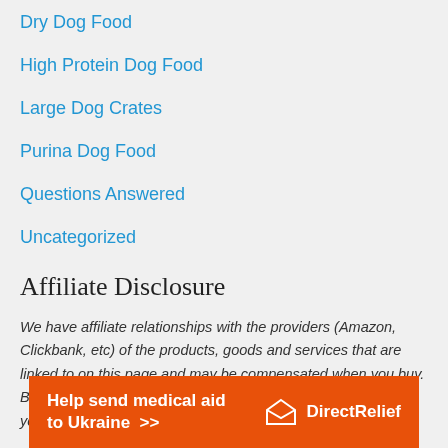Dry Dog Food
High Protein Dog Food
Large Dog Crates
Purina Dog Food
Questions Answered
Uncategorized
Affiliate Disclosure
We have affiliate relationships with the providers (Amazon, Clickbank, etc) of the products, goods and services that are linked to on this page and may be compensated when you buy. But do note that it doesn't increase the cost of the products to you in any way or determine our verdict on a product/service.
[Figure (infographic): Orange banner with white text 'Help send medical aid to Ukraine >>' and Direct Relief logo on the right]